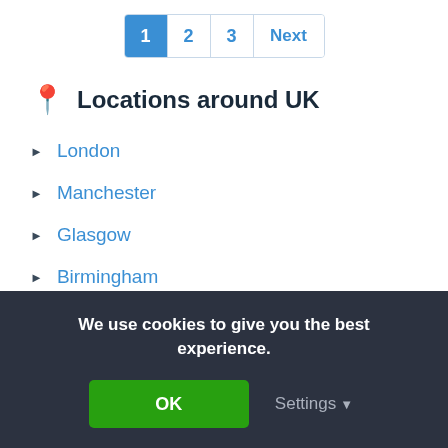1  2  3  Next
Locations around UK
London
Manchester
Glasgow
Birmingham
Bristol
Leeds
Newcastle Upon Tyne
We use cookies to give you the best experience.